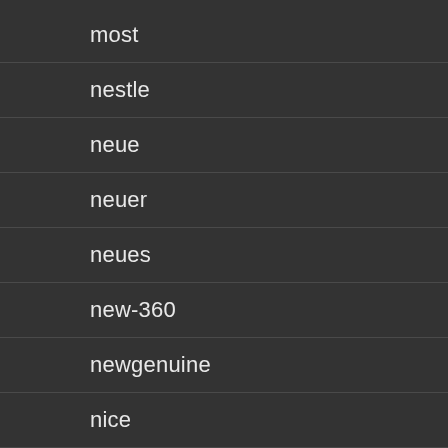most
nestle
neue
neuer
neues
new-360
newgenuine
nice
nikon